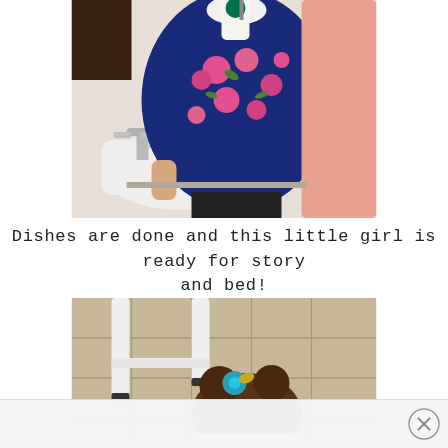[Figure (photo): Overhead view of a child in a navy floral dress standing at a bathroom sink, with a pink-robed adult nearby and a Starbucks cup visible]
Dishes are done and this little girl is ready for story and bed!
[Figure (photo): Top-down view of a young girl with brown hair in buns with a teal flower clip, sitting/kneeling on a tile floor next to white stool legs]